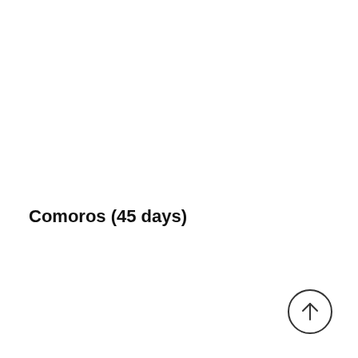Comoros (45 days)
[Figure (other): Circle with upward arrow icon, positioned in bottom-right corner]